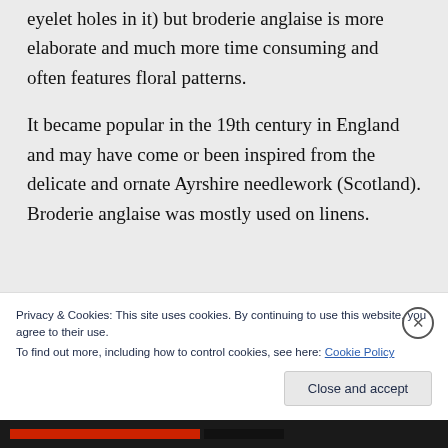eyelet holes in it) but broderie anglaise is more elaborate and much more time consuming and often features floral patterns.
It became popular in the 19th century in England and may have come or been inspired from the delicate and ornate Ayrshire needlework (Scotland). Broderie anglaise was mostly used on linens.
Privacy & Cookies: This site uses cookies. By continuing to use this website, you agree to their use.
To find out more, including how to control cookies, see here: Cookie Policy